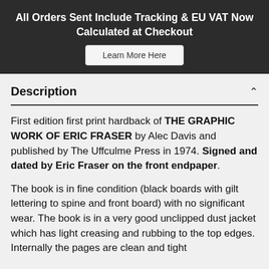All Orders Sent Include Tracking & EU VAT Now Calculated at Checkout
Description
First edition first print hardback of THE GRAPHIC WORK OF ERIC FRASER by Alec Davis and published by The Uffculme Press in 1974. Signed and dated by Eric Fraser on the front endpaper.
The book is in fine condition (black boards with gilt lettering to spine and front board) with no significant wear. The book is in a very good unclipped dust jacket which has light creasing and rubbing to the top edges. Internally the pages are clean and tight